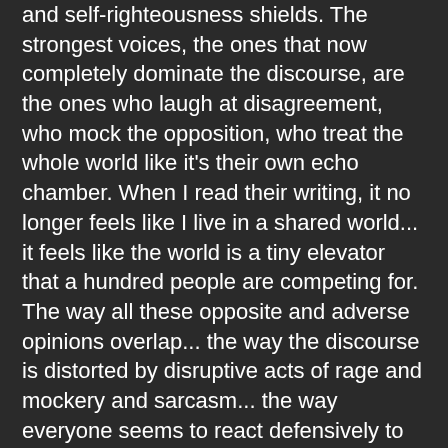and self-righteousness shields. The strongest voices, the ones that now completely dominate the discourse, are the ones who laugh at disagreement, who mock the opposition, who treat the whole world like it's their own echo chamber. When I read their writing, it no longer feels like I live in a shared world... it feels like the world is a tiny elevator that a hundred people are competing for. The way all these opposite and adverse opinions overlap... the way the discourse is distorted by disruptive acts of rage and mockery and sarcasm... the way everyone seems to react defensively to any threat of a challenge or disagreement... the way every minor point of contention flares up into anger and cruelty in a flash, with no escalation whatsoever... it turns everything into noise.
It's a weird topic, almost too personal for me, despite its cerebral nature. I'm glad Soderbergh gave me something to read about it, something to relate to, so I could write this rambling blog post... it lets me approach that ocean of intellectual vertigo, without quite letting myself fall in.
For the record -- and this is relevant to this post, even if it